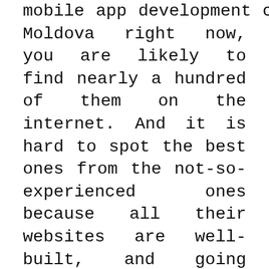mobile app development companies in Moldova right now, you are likely to find nearly a hundred of them on the internet. And it is hard to spot the best ones from the not-so-experienced ones because all their websites are well-built, and going through them all is impossible. You might miss the best ones in the process or get too burnt out in the process. That is why we have brought you the top 10 mobile app developers in Moldova so you can choose the best one for you easily. You can have the list of criteria ready that you should look for in a company to have the best app for your business. Then go through their websites and see which companies match the most with your